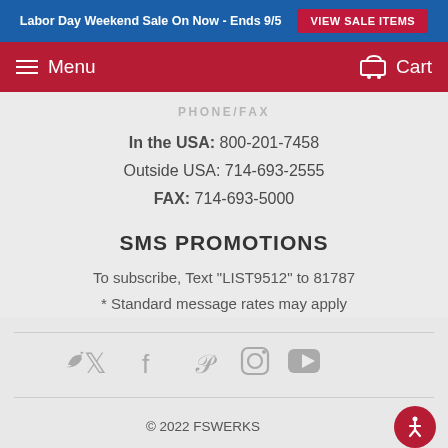Labor Day Weekend Sale On Now - Ends 9/5  VIEW SALE ITEMS
Menu  Cart
PHONE/FAX
In the USA: 800-201-7458
Outside USA: 714-693-2555
FAX: 714-693-5000
SMS PROMOTIONS
To subscribe, Text "LIST9512" to 81787
* Standard message rates may apply
[Figure (infographic): Social media icons: Twitter, Facebook, Pinterest, Instagram, YouTube]
© 2022 FSWERKS